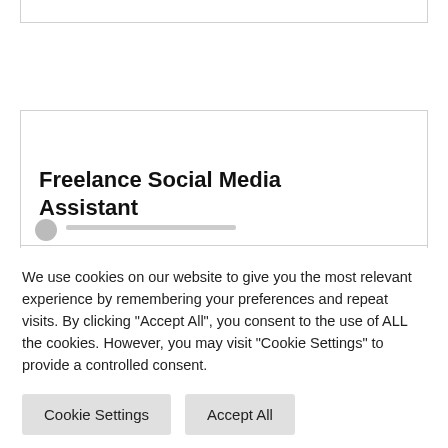Freelance Social Media Assistant
We use cookies on our website to give you the most relevant experience by remembering your preferences and repeat visits. By clicking “Accept All”, you consent to the use of ALL the cookies. However, you may visit "Cookie Settings" to provide a controlled consent.
Cookie Settings
Accept All